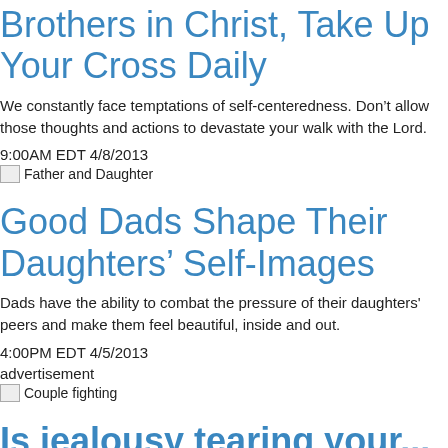Brothers in Christ, Take Up Your Cross Daily
We constantly face temptations of self-centeredness. Don’t allow those thoughts and actions to devastate your walk with the Lord.
9:00AM EDT 4/8/2013
[Figure (photo): Father and Daughter image placeholder]
Good Dads Shape Their Daughters’ Self-Images
Dads have the ability to combat the pressure of their daughters' peers and make them feel beautiful, inside and out.
4:00PM EDT 4/5/2013
advertisement
[Figure (photo): Couple fighting image placeholder]
Is jealousy tearing your...